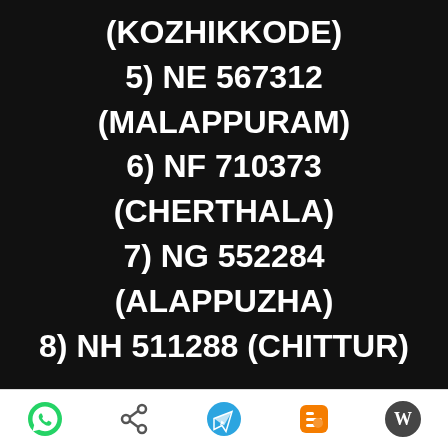(KOZHIKKODE)
5) NE 567312
(MALAPPURAM)
6) NF 710373
(CHERTHALA)
7) NG 552284
(ALAPPUZHA)
8) NH 511288 (CHITTUR)
[Figure (other): Mobile app toolbar with WhatsApp, share, Telegram, Blogger, and WordPress icons]